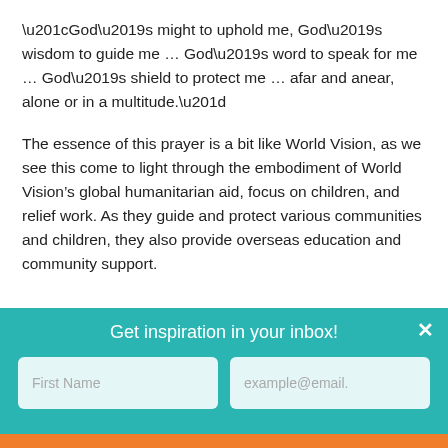“God’s might to uphold me, God’s wisdom to guide me … God’s word to speak for me … God’s shield to protect me … afar and anear, alone or in a multitude.”
The essence of this prayer is a bit like World Vision, as we see this come to light through the embodiment of World Vision’s global humanitarian aid, focus on children, and relief work. As they guide and protect various communities and children, they also provide overseas education and community support.
Get inspiration in your inbox!